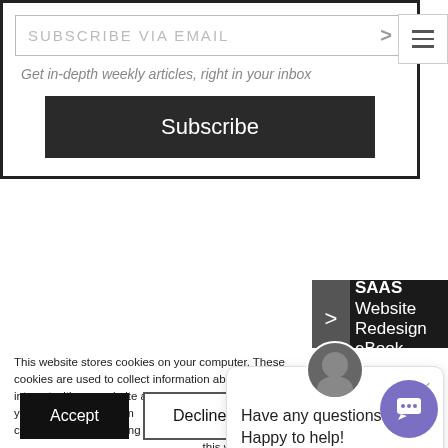[Figure (screenshot): Subscribe via email input field with arrow button, tagline text, and dark Subscribe button inside a bordered box]
Get in-depth weekly articles, right in your inbox
[Figure (screenshot): SAAS Website Redesign eBook promo dark bar with chevron and text]
This website stores cookies on your computer. These cookies are used to collect information about how you interact with our website and allow us to remember you. We use this information in order to improve and customize your browsing experience and for analytics and metrics about our visitors both on this website and other media. To find out more about the cookies we use, see our Privacy Policy.
If you decline, your information won't be tracked when you visit this website. A single cookie will be used in your browser to remember your preference not to be tracked.
[Figure (screenshot): Chat popup with avatar and message: Have any questions? Happy to help!]
Have any questions? Happy to help!
[Figure (screenshot): Accept and Decline cookie consent buttons, purple chat FAB button]